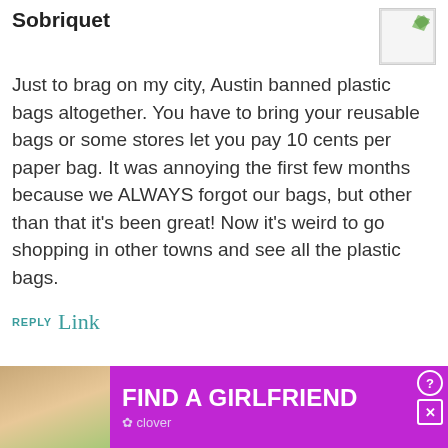Sobriquet
Just to brag on my city, Austin banned plastic bags altogether. You have to bring your reusable bags or some stores let you pay 10 cents per paper bag. It was annoying the first few months because we ALWAYS forgot our bags, but other than that it's been great! Now it's weird to go shopping in other towns and see all the plastic bags.
REPLY Link
Addie Pray
Really? I think that's wonderful! I usually bring my own bags to stores if I remember. When I do...